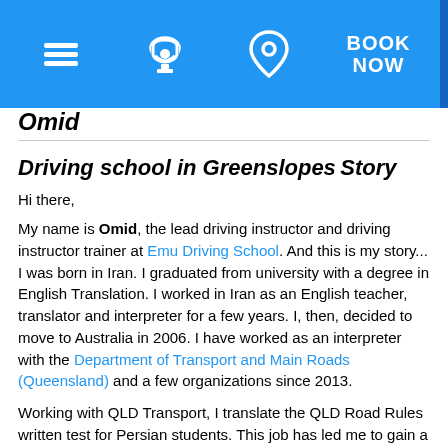BOOK NOW [navigation bar with menu, phone, location, and book now icons]
Omid
Driving school in Greenslopes
Story
Hi there,
My name is Omid, the lead driving instructor and driving instructor trainer at Emu Driving School. And this is my story... I was born in Iran. I graduated from university with a degree in English Translation. I worked in Iran as an English teacher, translator and interpreter for a few years. I, then, decided to move to Australia in 2006. I have worked as an interpreter with the Department of Transport and Main Roads (Queensland) and a few organizations since 2013.
Working with QLD Transport, I translate the QLD Road Rules written test for Persian students. This job has led me to gain a quite good understanding of these rules as well as the learners' weak points. I also interpret driving examiners instructions for my Persian clients during their practical tests.